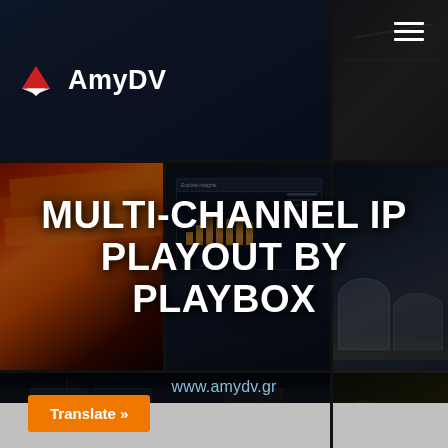[Figure (screenshot): AmyDV website screenshot showing multi-channel IP playout product page with mosaic background of industrial images (shipping containers, oil tanks, train tracks, data dashboard). White bold title text reads MULTI-CHANNEL IP PLAYOUT BY PLAYBOX. URL www.amydv.gr shown below title. Orange Translate button at bottom left. Hamburger menu icon top right.]
MULTI-CHANNEL IP PLAYOUT BY PLAYBOX
www.amydv.gr
Translate »